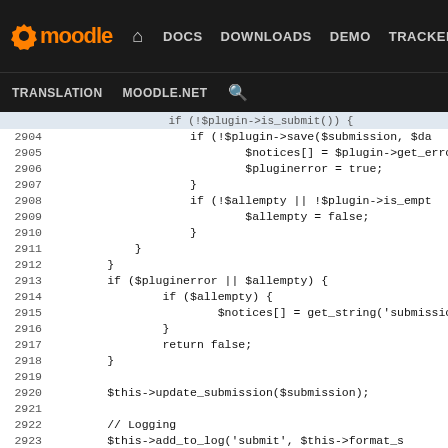moodle | DOCS | DOWNLOADS | DEMO | TRACKER | DEV | TRANSLATION | MOODLE.NET
[Figure (screenshot): Moodle developer navigation bar with logo, nav links (DOCS, DOWNLOADS, DEMO, TRACKER, DEV highlighted in blue), and secondary nav (TRANSLATION, MOODLE.NET, search icon)]
Code viewer showing PHP source lines 2904-2929 from a Moodle assignment submission function, including plugin save logic, error handling, update_submission, logging, and notification calls.